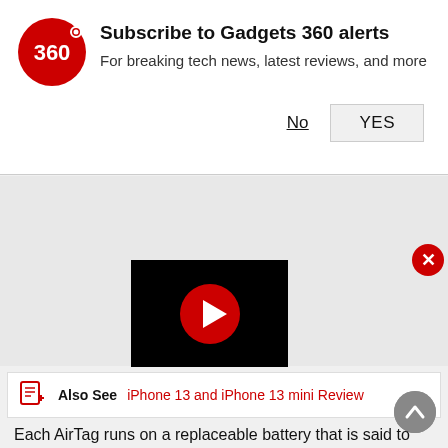Subscribe to Gadgets 360 alerts
For breaking tech news, latest reviews, and more
[Figure (screenshot): Gray content area background]
[Figure (screenshot): Video player with red play button on black background]
Also See  iPhone 13 and iPhone 13 mini Review
Each AirTag runs on a replaceable battery that is said to